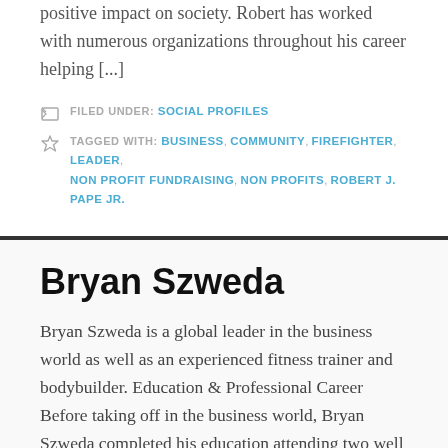positive impact on society. Robert has worked with numerous organizations throughout his career helping [...]
FILED UNDER: SOCIAL PROFILES
TAGGED WITH: BUSINESS, COMMUNITY, FIREFIGHTER, LEADER, NON PROFIT FUNDRAISING, NON PROFITS, ROBERT J. PAPE JR.
Bryan Szweda
Bryan Szweda is a global leader in the business world as well as an experienced fitness trainer and bodybuilder. Education & Professional Career Before taking off in the business world, Bryan Szweda completed his education attending two well